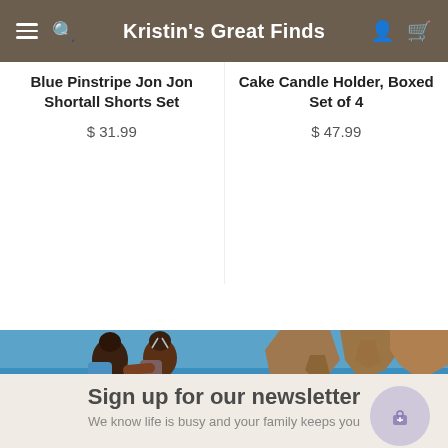Kristin's Great Finds
Blue Pinstripe Jon Jon Shortall Shorts Set
$ 31.99
Cake Candle Holder, Boxed Set of 4
$ 47.99
[Figure (photo): Two women with backpacks sitting together looking at rocky coastal cliffs and blue ocean water]
Sign up for our newsletter
We know life is busy and your family keeps you